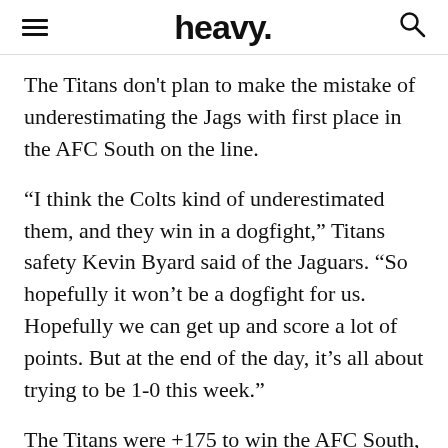heavy.
The Titans don't plan to make the mistake of underestimating the Jags with first place in the AFC South on the line.
“I think the Colts kind of underestimated them, and they win in a dogfight,” Titans safety Kevin Byard said of the Jaguars. “So hopefully it won’t be a dogfight for us. Hopefully we can get up and score a lot of points. But at the end of the day, it’s all about trying to be 1-0 this week.”
The Titans were +175 to win the AFC South, while Jacksonville was a hefty +2,000 long-shot